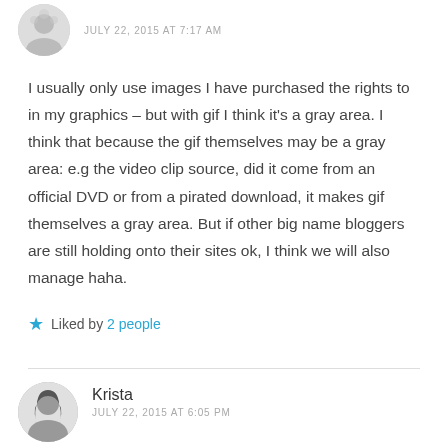JULY 22, 2015 AT 7:17 AM
I usually only use images I have purchased the rights to in my graphics – but with gif I think it's a gray area. I think that because the gif themselves may be a gray area: e.g the video clip source, did it come from an official DVD or from a pirated download, it makes gif themselves a gray area. But if other big name bloggers are still holding onto their sites ok, I think we will also manage haha.
Liked by 2 people
Krista
JULY 22, 2015 AT 6:05 PM